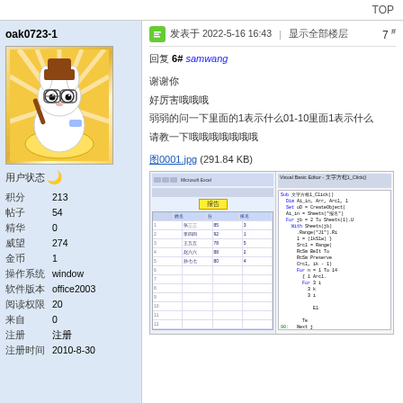TOP
oak0723-1
[Figure (illustration): Cartoon avatar of a rabbit-like character holding a bat, sitting on a yellow cushion, with sunburst background]
用户状态 🌙
积分: 213
帖子: 54
精华: 0
威望: 274
金币: 1
操作系统: window
软件版本: office2003
阅读权限: 20
来自: 0
注册: 注册
注册时间: 2010-8-30
发表于 2022-5-16 16:43 | 显示全部楼层 7 #
回复 6# samwang
谢谢你
好厉害哦哦哦
弱弱的问一下里面的1表示什么01-10里面1表示什么
请教一下哦哦哦哦哦哦哦
图0001.jpg (291.84 KB)
[Figure (screenshot): Screenshot of Microsoft Excel spreadsheet with VBA code editor visible on the right side, showing code with highlighted text]